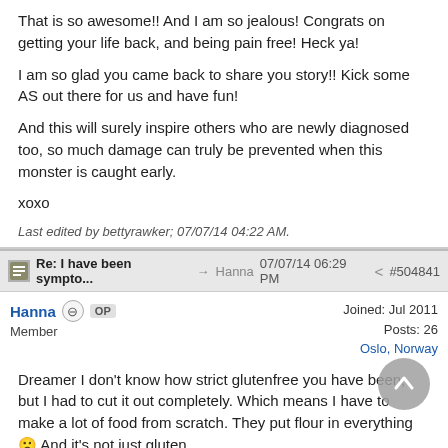That is so awesome!! And I am so jealous! Congrats on getting your life back, and being pain free! Heck ya!
I am so glad you came back to share you story!! Kick some AS out there for us and have fun!
And this will surely inspire others who are newly diagnosed too, so much damage can truly be prevented when this monster is caught early.
xoxo
Last edited by bettyrawker; 07/07/14 04:22 AM.
Re: I have been sympto... → Hanna 07/07/14 06:29 PM < #504841
Hanna  OP  Member   Joined: Jul 2011  Posts: 26  Oslo, Norway
Dreamer I don't know how strict glutenfree you have been, but I had to cut it out completely. Which means I have to make a lot of food from scratch. They put flour in everything 🙁 And it's not just gluten